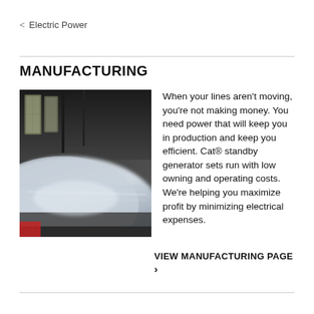< Electric Power
MANUFACTURING
[Figure (photo): Industrial manufacturing facility interior showing a large curved metal surface or machinery component with motion blur, industrial warehouse setting with high windows in the background]
When your lines aren't moving, you're not making money. You need power that will keep you in production and keep you efficient. Cat® standby generator sets run with low owning and operating costs. We're helping you maximize profit by minimizing electrical expenses.
VIEW MANUFACTURING PAGE ›